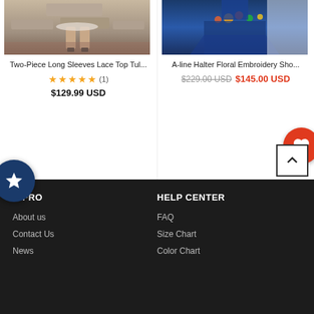[Figure (photo): Product photo of Two-Piece Long Sleeves Lace Top Tulle dress, showing lower half with heels on stone steps]
[Figure (photo): Product photo of A-line Halter Floral Embroidery Short dress in navy blue with floral embroidery at waist]
Two-Piece Long Sleeves Lace Top Tul...
★★★★★ (1)
$129.99 USD
A-line Halter Floral Embroidery Sho...
$229.00 USD  $145.00 USD
INFRO
About us
Contact Us
News
HELP CENTER
FAQ
Size Chart
Color Chart